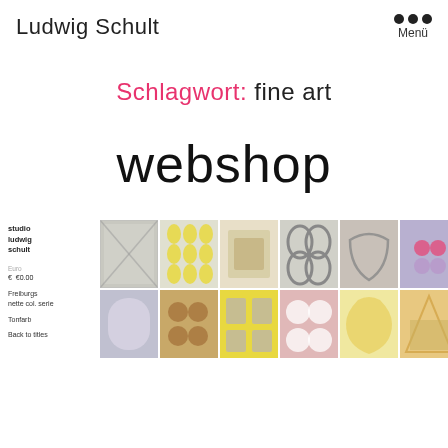Ludwig Schult
Menü
Schlagwort: fine art
webshop
[Figure (screenshot): Webshop product grid showing multiple art print thumbnails in two rows, with a sidebar showing shop name 'studio ludwig schult', price around €60.00, and filter/sort options]